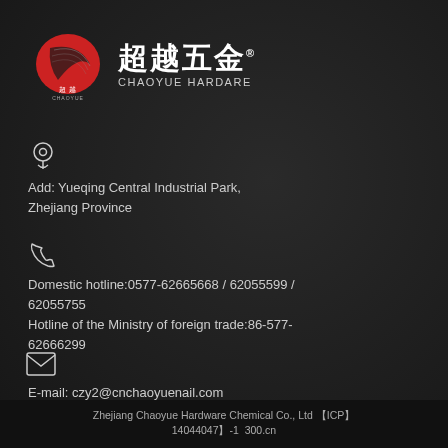[Figure (logo): Chaoyue Hardware logo with red stylized bird/wing shape, Chinese text 超越五金, and English text CHAOYUE HARDARE]
Add: Yueqing Central Industrial Park, Zhejiang Province
Domestic hotline:0577-62665668 / 62055599 / 62055755
Hotline of the Ministry of foreign trade:86-577-62666299
E-mail: czy2@cnchaoyuenail.com
Zhejiang Chaoyue Hardware Chemical Co., Ltd 【ICP】14044047】-1  300.cn